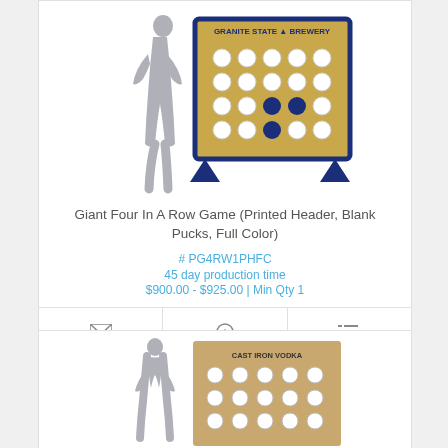[Figure (illustration): Giant Four In A Row Game with printed header reading 'GRANITE STATE BREWERY', blue frame and legs, wood board with circular holes and some dark blue pucks inserted. Human silhouette shown for scale.]
Giant Four In A Row Game (Printed Header, Blank Pucks, Full Color)
# PG4RW1PHFC
45 day production time
$900.00 - $925.00  |  Min Qty 1
[Figure (illustration): Partial view of another Giant Four In A Row Game with printed header reading 'CAST IRON VODKA', tan/wood color board with circular holes. Human silhouette shown for scale.]